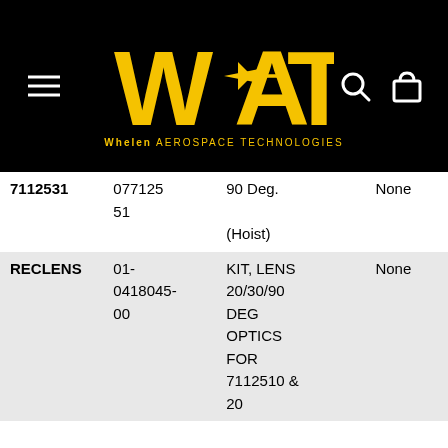[Figure (logo): WAT - Whelen Aerospace Technologies logo on black header with hamburger menu, search icon, and cart icon]
| Part | SKU | Description | Stock |
| --- | --- | --- | --- |
| 7112531 | 077125
51 | 90 Deg.
(Hoist) | None |
| RECLENS | 01-0418045-00 | KIT, LENS 20/30/90 DEG OPTICS FOR 7112510 & 20 | None |